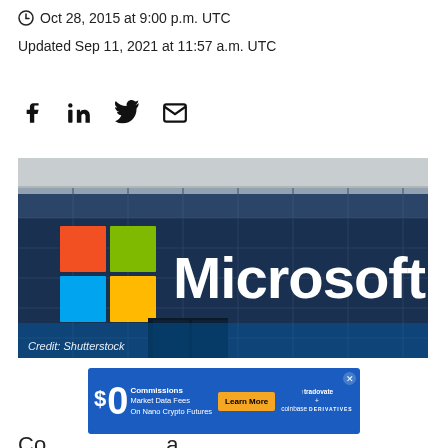Oct 28, 2015 at 9:00 p.m. UTC
Updated Sep 11, 2021 at 11:57 a.m. UTC
[Figure (other): Social share icons: Facebook, LinkedIn, Twitter, Email]
[Figure (photo): Microsoft building exterior with colorful Microsoft logo (four colored squares: orange, green, blue, yellow) and white Microsoft text on a glass facade. Credit: Shutterstock]
[Figure (infographic): Advertisement banner: $0 Commissions, Market Data Fees On Nano Crypto Futures. Learn More button. Tradovate + Coinbase Derivatives logo.]
Co a